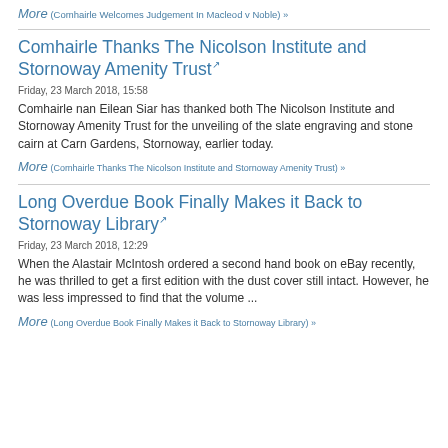More (Comhairle Welcomes Judgement In Macleod v Noble) »
Comhairle Thanks The Nicolson Institute and Stornoway Amenity Trust
Friday, 23 March 2018, 15:58
Comhairle nan Eilean Siar has thanked both The Nicolson Institute and Stornoway Amenity Trust for the unveiling of the slate engraving and stone cairn at Carn Gardens, Stornoway, earlier today.
More (Comhairle Thanks The Nicolson Institute and Stornoway Amenity Trust) »
Long Overdue Book Finally Makes it Back to Stornoway Library
Friday, 23 March 2018, 12:29
When the Alastair McIntosh ordered a second hand book on eBay recently, he was thrilled to get a first edition with the dust cover still intact. However, he was less impressed to find that the volume ...
More (Long Overdue Book Finally Makes it Back to Stornoway Library) »